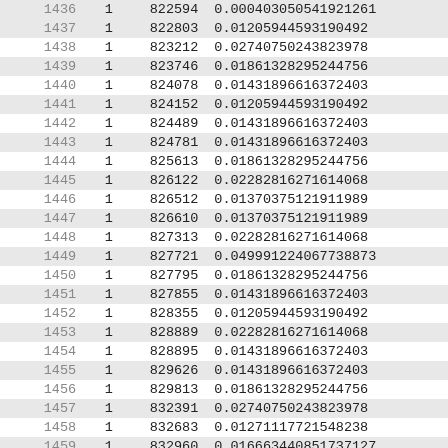| index | col1 | col2 | col3 |
| --- | --- | --- | --- |
| 1436 | 1 | 822594 | 0.000403050541921261 |
| 1437 | 1 | 822803 | 0.0120594459319049 2 |
| 1438 | 1 | 823212 | 0.0274075024382397 8 |
| 1439 | 1 | 823746 | 0.0186132829524475 6 |
| 1440 | 1 | 824078 | 0.0143189661637240 3 |
| 1441 | 1 | 824152 | 0.0120594459319049 2 |
| 1442 | 1 | 824489 | 0.0143189661637240 3 |
| 1443 | 1 | 824781 | 0.0143189661637240 3 |
| 1444 | 1 | 825613 | 0.0186132829524475 6 |
| 1445 | 1 | 826122 | 0.0228281627161406 8 |
| 1446 | 1 | 826512 | 0.0137037512191198 9 |
| 1447 | 1 | 826610 | 0.0137037512191198 9 |
| 1448 | 1 | 827313 | 0.0228281627161406 8 |
| 1449 | 1 | 827721 | 0.0499912240677388 73 |
| 1450 | 1 | 827795 | 0.0186132829524475 6 |
| 1451 | 1 | 827855 | 0.0143189661637240 3 |
| 1452 | 1 | 828355 | 0.0120594459319049 2 |
| 1453 | 1 | 828889 | 0.0228281627161406 8 |
| 1454 | 1 | 828895 | 0.0143189661637240 3 |
| 1455 | 1 | 829626 | 0.0143189661637240 3 |
| 1456 | 1 | 829813 | 0.0186132829524475 6 |
| 1457 | 1 | 832391 | 0.0274075024382397 8 |
| 1458 | 1 | 832683 | 0.0127111772154823 8 |
| 1459 | 1 | 832960 | 0.0166634408517371 27 |
| 1460 | 1 | 833320 | 0.0166634408517371 27 |
| 1461 | 1 | 833703 | 0.0228281627161406 8 |
| 1462 | 1 | 833885 | 0.0279919924428671 34 |
| 1463 | 1 | 833915 | 0.0228281627161406 8 |
| 1464 | 1 | 836051 | 0.0186132829524475 6 |